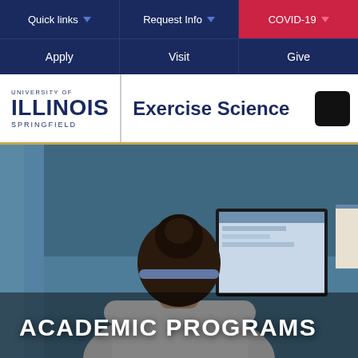Quick links | Request Info | COVID-19
Apply | Visit | Give
Exercise Science
UNIVERSITY OF ILLINOIS SPRINGFIELD
[Figure (photo): Person seen from behind, wearing a white t-shirt and blue headband, standing at a wall-mounted computer monitor in a blue-walled room with a curtain on the left.]
ACADEMIC PROGRAMS